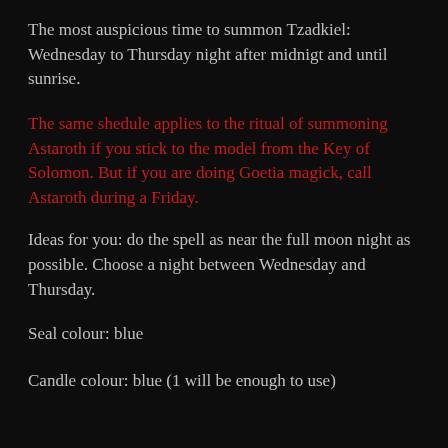The most auspicious time to summon Tzadkiel: Wednesday to Thursday night after midnigt and until sunrise.
The same shedule applies to the ritual of summoning Astaroth if you stick to the model from the Key of Solomon. But if you are doing Goetia magick, call Astaroth during a Friday.
Ideas for you: do the spell as near the full moon night as possible. Choose a night between Wednesday and Thursday.
Seal colour: blue
Candle colour: blue (1 will be enough to use)